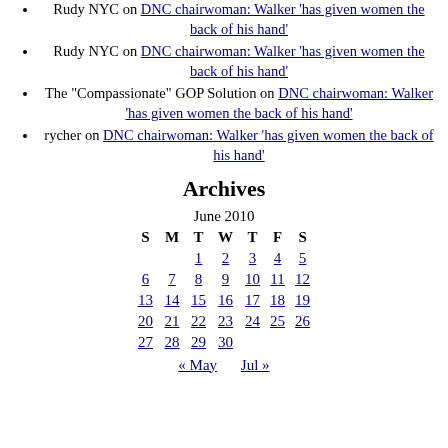Rudy NYC on DNC chairwoman: Walker 'has given women the back of his hand'
Rudy NYC on DNC chairwoman: Walker 'has given women the back of his hand'
The "Compassionate" GOP Solution on DNC chairwoman: Walker 'has given women the back of his hand'
rycher on DNC chairwoman: Walker 'has given women the back of his hand'
Archives
| S | M | T | W | T | F | S |
| --- | --- | --- | --- | --- | --- | --- |
|  |  | 1 | 2 | 3 | 4 | 5 |
| 6 | 7 | 8 | 9 | 10 | 11 | 12 |
| 13 | 14 | 15 | 16 | 17 | 18 | 19 |
| 20 | 21 | 22 | 23 | 24 | 25 | 26 |
| 27 | 28 | 29 | 30 |  |  |  |